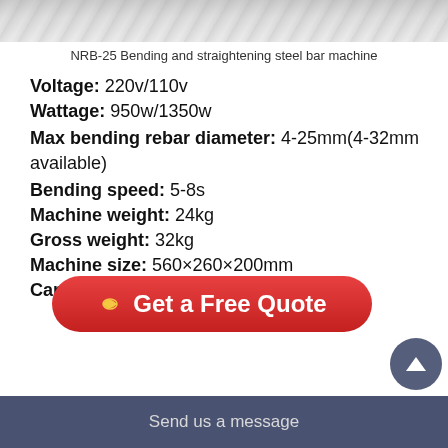[Figure (photo): Top portion of a steel bar bending and straightening machine photo, showing gray metallic surface]
NRB-25 Bending and straightening steel bar machine
Voltage: 220v/110v
Wattage: 950w/1350w
Max bending rebar diameter: 4-25mm(4-32mm available)
Bending speed: 5-8s
Machine weight: 24kg
Gross weight: 32kg
Machine size: 560×260×200mm
Carton size: 670×385×260mm
[Figure (other): Red rounded button with arrow icon and text 'Get a Free Quote']
Send us a message